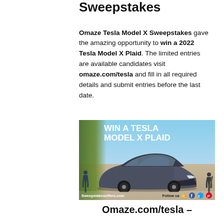Sweepstakes
Omaze Tesla Model X Sweepstakes gave the amazing opportunity to win a 2022 Tesla Model X Plaid. The limited entries are available candidates visit omaze.com/tesla and fill in all required details and submit entries before the last date.
[Figure (photo): Advertisement image showing a Tesla Model X Plaid SUV parked outdoors with text overlay reading 'WIN A TESLA MODEL X PLAID'. Two people are visible in the background, one on each side. Footer shows 'Sweepstakesoffers.com' on left and 'Follow us' with social media icons on right.]
Omaze.com/tesla –